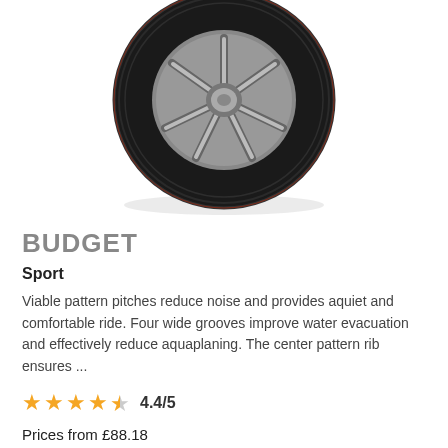[Figure (photo): A black car tire with silver alloy wheel rim, shown at an angle against a white background.]
BUDGET
Sport
Viable pattern pitches reduce noise and provides aquiet and comfortable ride. Four wide grooves improve water evacuation and effectively reduce aquaplaning. The center pattern rib ensures ...
4.4/5
Prices from £88.18